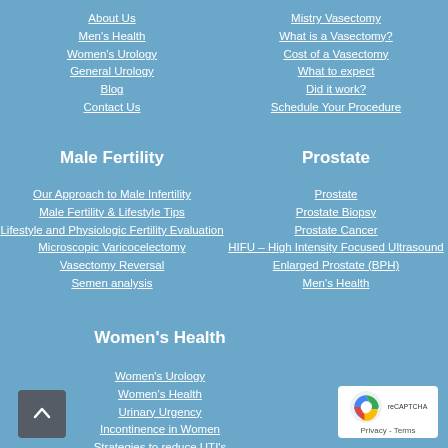About Us
Men's Health
Women's Urology
General Urology
Blog
Contact Us
Mistry Vasectomy
What is a Vasectomy?
Cost of a Vasectomy
What to expect
Did it work?
Schedule Your Procedure
Male Fertility
Prostate
Our Approach to Male Infertility
Male Fertility & Lifestyle Tips
Lifestyle and Physiologic Fertility Evaluation
Microscopic Varicocelectomy
Vasectomy Reversal
Semen analysis
Prostate
Prostate Biopsy
Prostate Cancer
HIFU – High Intensity Focused Ultrasound
Enlarged Prostate (BPH)
Men's Health
Women's Health
Women's Urology
Women's Health
Urinary Urgency
Incontinence in Women
Strategies to reduce UTI's